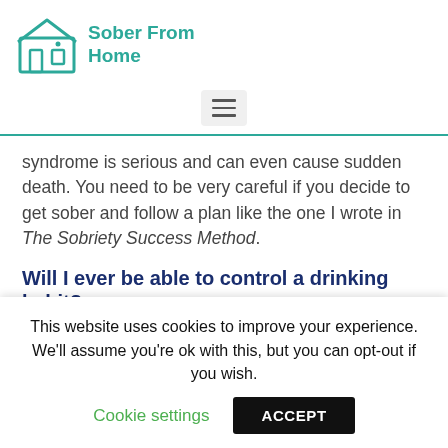Sober From Home
syndrome is serious and can even cause sudden death. You need to be very careful if you decide to get sober and follow a plan like the one I wrote in The Sobriety Success Method.
Will I ever be able to control a drinking habit?
I normally say no to this question. Anyone reading this post is likely struggling with a drinking problem that is much
This website uses cookies to improve your experience. We'll assume you're ok with this, but you can opt-out if you wish.
Cookie settings   ACCEPT